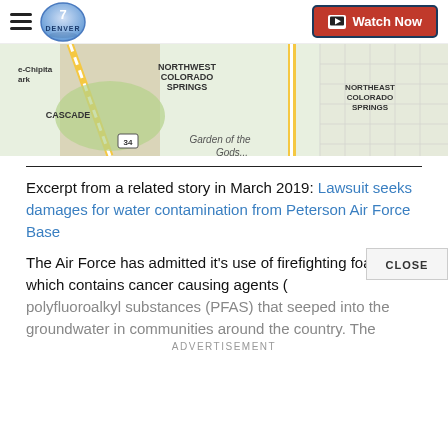Denver 7 — Watch Now
[Figure (map): Map showing Northwest Colorado Springs, Northeast Colorado Springs, Cascade, and Garden of the Gods area]
Excerpt from a related story in March 2019: Lawsuit seeks damages for water contamination from Peterson Air Force Base
The Air Force has admitted it's use of firefighting foam which contains cancer causing agents (polyfluoroalkyl substances (PFAS) that seeped into the groundwater in communities around the country. The